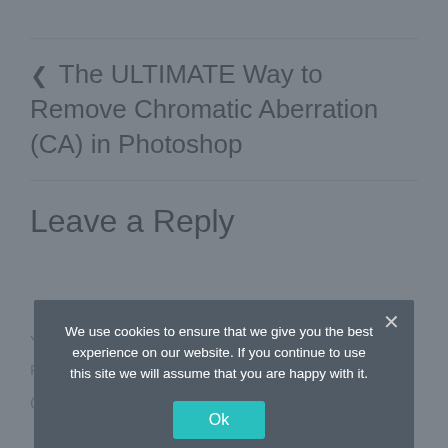‹ The ULTIMATE Way to Remove Chromatic Aberration (CA) in Photoshop
Leave a Reply
Your email address will not be published.
Required fields are marked *
Comment *
We use cookies to ensure that we give you the best experience on our website. If you continue to use this site we will assume that you are happy with it.